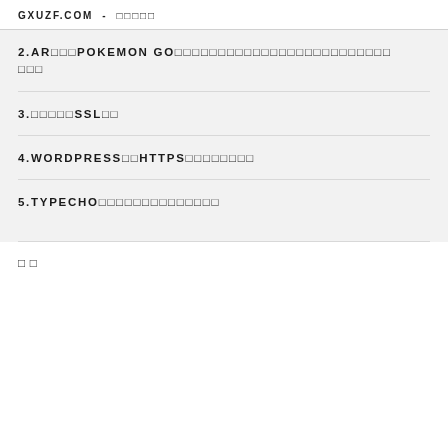GXUZF.COM - □□□□□
2.AR□□□POKEMON GO□□□□□□□□□□□□□□□□□□□□□□□□□
3.□□□□□SSL□□
4.WORDPRESS□□HTTPS□□□□□□□□
5.TYPECHO□□□□□□□□□□□□□□
□ □